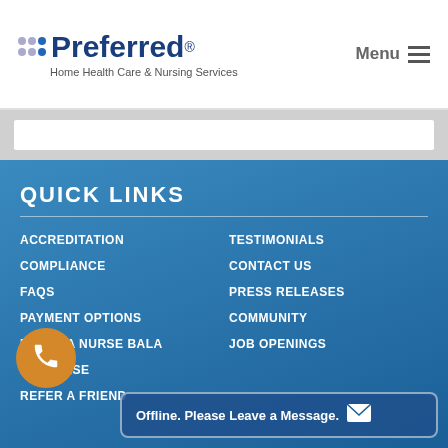[Figure (logo): Preferred Home Health Care & Nursing Services logo with colored dot grid and blue bold text]
Menu
QUICK LINKS
ACCREDITATION
TESTIMONIALS
COMPLIANCE
CONTACT US
FAQs
PRESS RELEASES
PAYMENT OPTIONS
COMMUNITY
REFER A NURSE BALA
JOB OPENINGS
R A NURSE
REFER A FRIEND
Offline. Please Leave a Message.